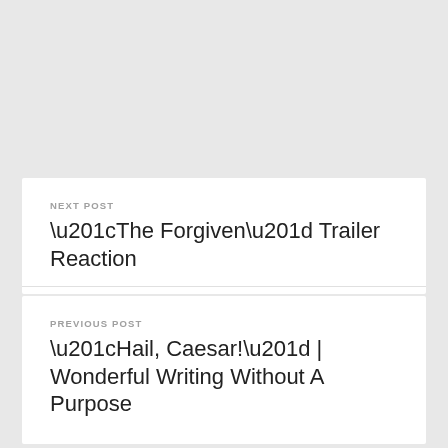NEXT POST
“The Forgiven” Trailer Reaction
PREVIOUS POST
“Hail, Caesar!” | Wonderful Writing Without A Purpose